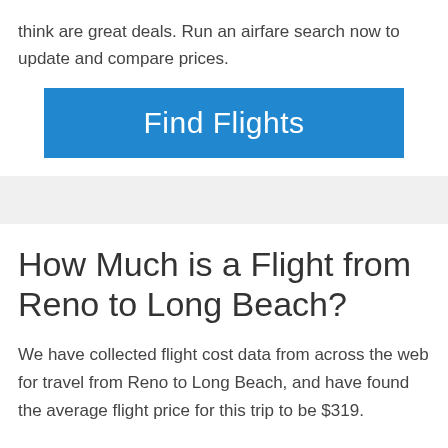think are great deals. Run an airfare search now to update and compare prices.
[Figure (other): Blue 'Find Flights' button]
How Much is a Flight from Reno to Long Beach?
We have collected flight cost data from across the web for travel from Reno to Long Beach, and have found the average flight price for this trip to be $319.